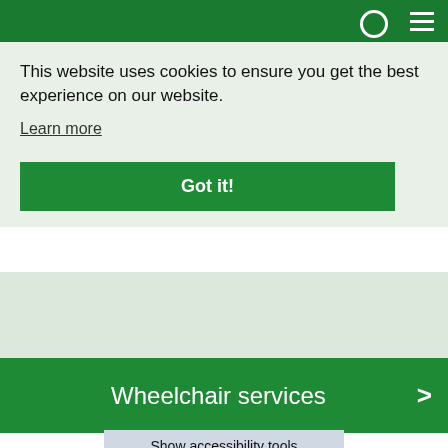This website uses cookies to ensure you get the best experience on our website.
Learn more
Got it!
[Figure (screenshot): Green tinted content area below cookie banner]
Wheelchair services
Show accessibility tools